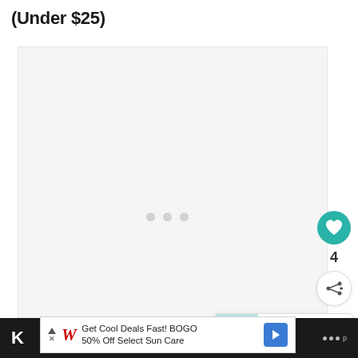(Under $25)
[Figure (other): Large content area with loading dots placeholder — image slideshow area with light gray background]
[Figure (other): Heart/like button (teal circle with white heart icon), count of 4, share button (white circle with share icon)]
[Figure (other): What's Next panel: thumbnail of socks/leg care product with label 'WHAT'S NEXT →' and text '45 Benefits of Becoming a...']
[Figure (other): Advertisement banner: Walgreens logo, text 'Get Cool Deals Fast! BOGO 50% Off Select Sun Care', blue arrow button]
K